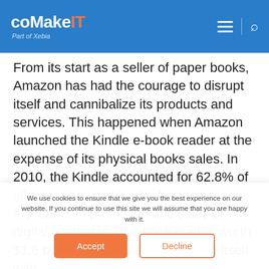coMakeIT Part of Xebia
From its start as a seller of paper books, Amazon has had the courage to disrupt itself and cannibalize its products and services. This happened when Amazon launched the Kindle e-book reader at the expense of its physical books sales. In 2010, the Kindle accounted for 62.8% of all e-readers worldwide. Amazon is now the leader in promotion and sales of digital content in an e-book market worth $1.6 billion. Amazon also disrupted itself with
We use cookies to ensure that we give you the best experience on our website. If you continue to use this site we will assume that you are happy with it.